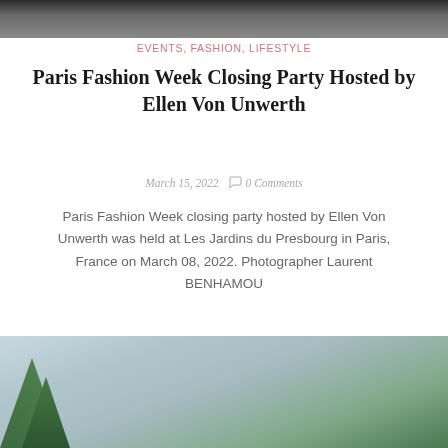[Figure (photo): Black and white photo of people at a fashion event, cropped at top]
EVENTS, FASHION, LIFESTYLE
Paris Fashion Week Closing Party Hosted by Ellen Von Unwerth
March 15, 2022  0 Comments
Paris Fashion Week closing party hosted by Ellen Von Unwerth was held at Les Jardins du Presbourg in Paris, France on March 08, 2022. Photographer Laurent BENHAMOU
[Figure (photo): Outdoor photo showing trees and sky, partially visible at bottom of page]